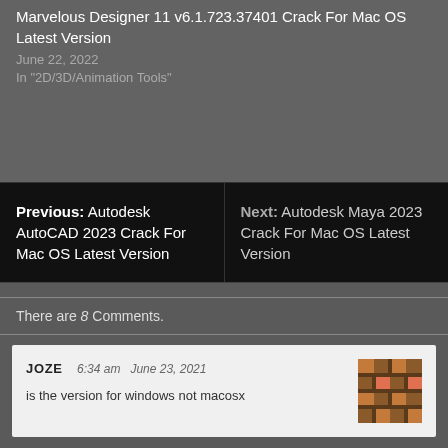Marvelous Designer 11 v6.1.723.37401 Crack For Mac OS Latest Version
June 22, 2022
In "2D/3D/Animation Tools"
Previous: Autodesk AutoCAD 2023 Crack For Mac OS Latest Version
Next: Autodesk Maya 2023 Crack For Mac OS Latest Version
There are 8 Comments.
JOZE  6:34 am  June 23, 2021
is the version for windows not macosx